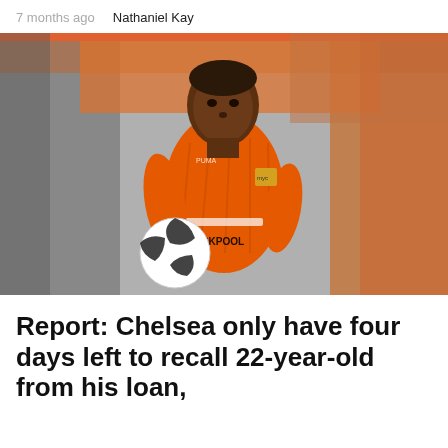7 months ago   Nathaniel Kay
[Figure (photo): A Black footballer wearing an orange Blackpool FC jersey with PUMA branding, holding a white soccer ball. The background shows a stadium crowd in soft focus. The jersey displays 'BLACKPOOL' text on the front.]
Report: Chelsea only have four days left to recall 22-year-old from his loan,